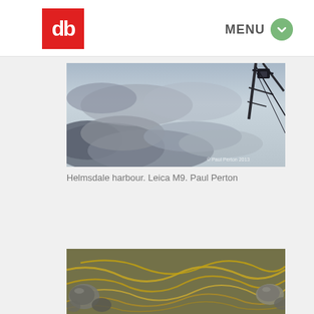[Figure (logo): Red square logo with white stylized 'db' letters]
MENU
[Figure (photo): Harbour scene with dramatic cloudy sky and dark crane/rigging structure visible in top-right corner. Copyright Paul Perton 2013 watermark visible.]
Helmsdale harbour. Leica M9. Paul Perton
[Figure (photo): Close-up photo of seaweed and wet pebbles/stones on a beach, with golden/yellow seaweed strands and grey rounded stones.]